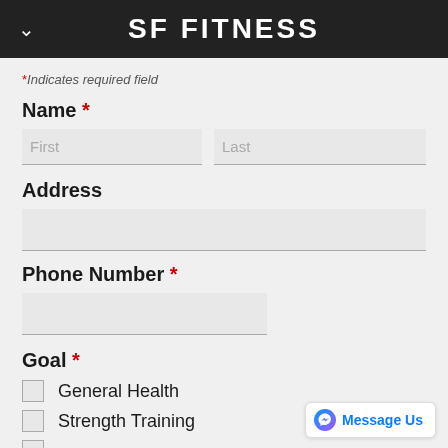SF FITNESS
* Indicates required field
Name *
First  Last
Address
Phone Number *
Goal *
General Health
Strength Training
(partial, cut off)